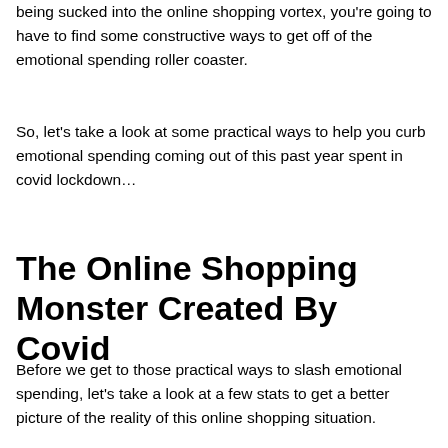being sucked into the online shopping vortex, you're going to have to find some constructive ways to get off of the emotional spending roller coaster.
So, let's take a look at some practical ways to help you curb emotional spending coming out of this past year spent in covid lockdown…
The Online Shopping Monster Created By Covid
Before we get to those practical ways to slash emotional spending, let's take a look at a few stats to get a better picture of the reality of this online shopping situation.